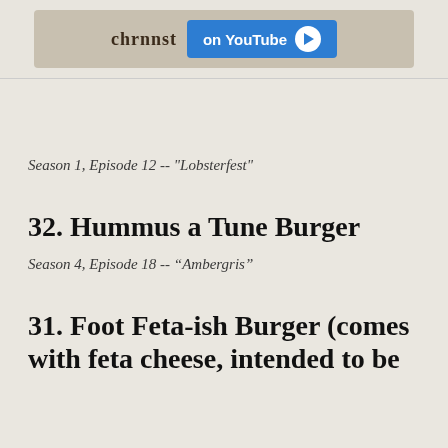[Figure (screenshot): Banner advertisement with food/burger image and YouTube call-to-action button]
Season 1, Episode 12 -- "Lobsterfest"
32. Hummus a Tune Burger
Season 4, Episode 18 -- “Ambergris”
31. Foot Feta-ish Burger (comes with feta cheese, intended to be